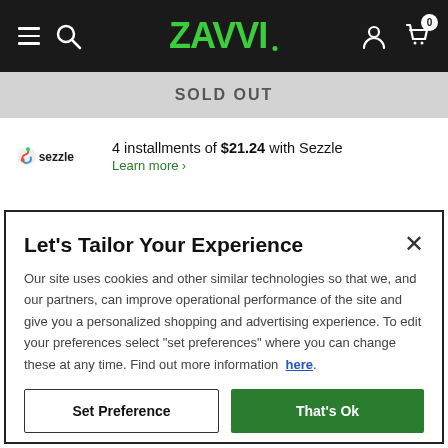Zavvi — navigation bar with hamburger menu, search, logo, account and cart icons
SOLD OUT
4 installments of $21.24 with Sezzle
Learn more >
Let's Tailor Your Experience
Our site uses cookies and other similar technologies so that we, and our partners, can improve operational performance of the site and give you a personalized shopping and advertising experience. To edit your preferences select "set preferences" where you can change these at any time. Find out more information here.
Set Preference
That's Ok